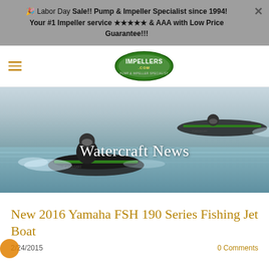🎉 Labor Day Sale!! Pump & Impeller Specialist since 1994! Your #1 Impeller service ★★★★★ & AAA with Low Price Guarantee!!!
[Figure (logo): Impellers.com logo — oval green badge with white text]
[Figure (photo): Two Kawasaki jet skis racing at high speed on water, with spray; text overlay reads 'Watercraft News']
New 2016 Yamaha FSH 190 Series Fishing Jet Boat
2/24/2015
0 Comments